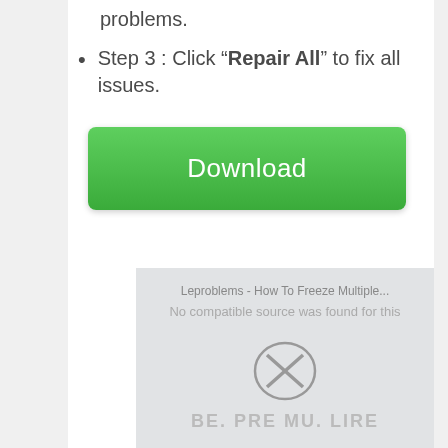problems.
Step 3 : Click “Repair All” to fix all issues.
[Figure (screenshot): Green Download button with rounded corners and white text reading 'Download']
[Figure (screenshot): Video player overlay showing 'No compatible source was found for this media' error with an X icon and partial text at bottom]